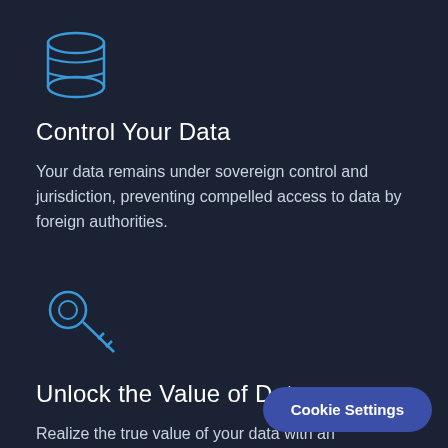[Figure (illustration): Blue outline icon of a database (cylinder with horizontal lines) on dark background]
Control Your Data
Your data remains under sovereign control and jurisdiction, preventing compelled access to data by foreign authorities.
[Figure (illustration): Blue outline icon of a key on dark background]
Unlock the Value of Data
Realize the true value of your data with an established framework for data mobility to trusted clouds, an...
Cookie Settings